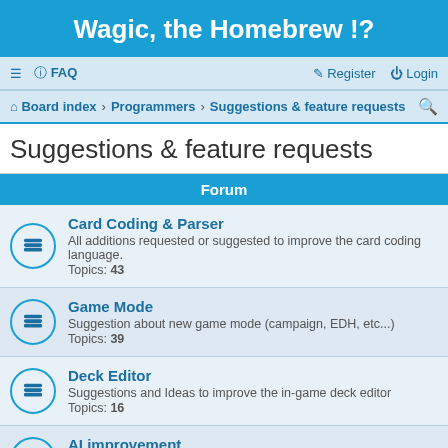Wagic, the Homebrew !?
Forum
Suggestions & feature requests
Card Coding & Parser
All additions requested or suggested to improve the card coding language.
Topics: 43
Game Mode
Suggestion about new game mode (campaign, EDH, etc...)
Topics: 39
Deck Editor
Suggestions and Ideas to improve the in-game deck editor
Topics: 16
AI improvement
All about getting the AI less baka...
Topics: 16
Shop
All about the shop and the way of improving it
Topics: 17